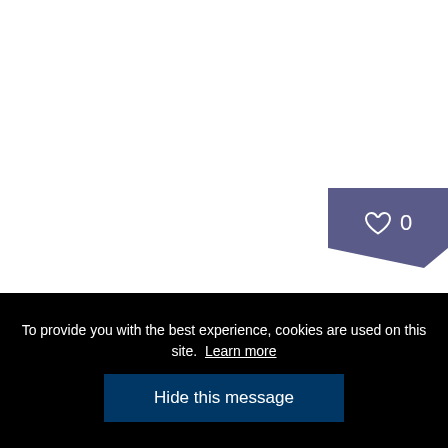[Figure (other): Heart icon badge with count '0' on a purple/slate background, positioned top-right]
Our Gaelic Culture
To provide you with the best experience, cookies are used on this site.  Learn more
Hide this message